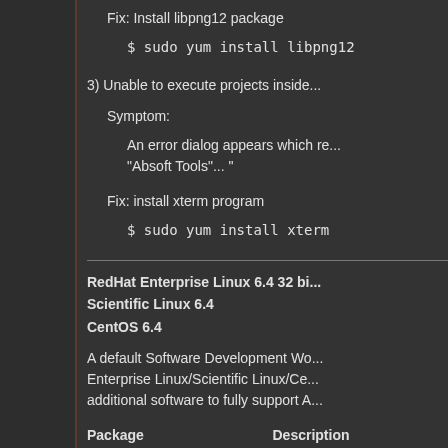Fix: Install libpng12 package
$ sudo yum install libpng12
3) Unable to execute projects inside...
Symptom:
An error dialog appears which re... "Absoft Tools"... "
Fix: install xterm program
$ sudo yum install xterm
RedHat Enterprise Linux 6.4 32 bi...
Scientific Linux 6.4
CentOS 6.4
A default Software Development Wo... Enterprise Linux/Scientific Linux/Ce... additional software to fully support A...
| Package | Description |
| --- | --- |